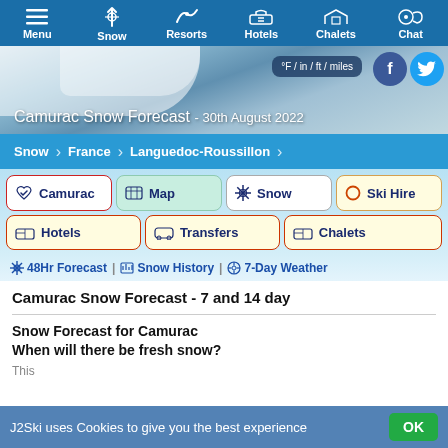Menu | Snow | Resorts | Hotels | Chalets | Chat
Camurac Snow Forecast - 30th August 2022
Snow > France > Languedoc-Roussillon
Camurac
Map
Snow
Ski Hire
Hotels
Transfers
Chalets
48Hr Forecast | Snow History | 7-Day Weather
Camurac Snow Forecast - 7 and 14 day
Snow Forecast for Camurac
When will there be fresh snow?
J2Ski uses Cookies to give you the best experience
OK